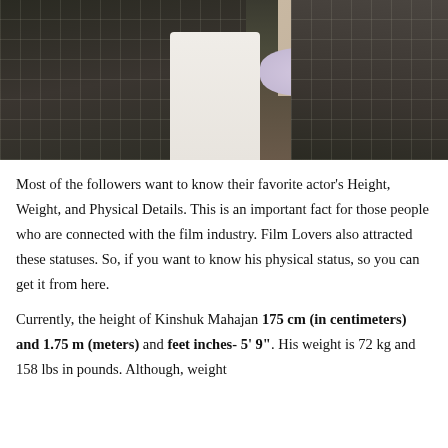[Figure (photo): Photo of Kinshuk Mahajan wearing a dark plaid/checkered blazer over a white shirt, standing indoors with a beige/cream room background, flowers and a framed picture visible behind him.]
Most of the followers want to know their favorite actor's Height, Weight, and Physical Details. This is an important fact for those people who are connected with the film industry. Film Lovers also attracted these statuses. So, if you want to know his physical status, so you can get it from here.
Currently, the height of Kinshuk Mahajan 175 cm (in centimeters) and 1.75 m (meters) and feet inches- 5' 9". His weight is 72 kg and 158 lbs in pounds. Although, weight